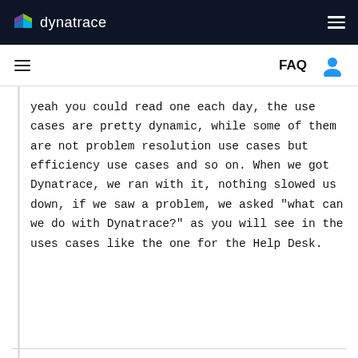dynatrace
FAQ
yeah you could read one each day, the use cases are pretty dynamic, while some of them are not problem resolution use cases but efficiency use cases and so on. When we got Dynatrace, we ran with it, nothing slowed us down, if we saw a problem, we asked "what can we do with Dynatrace?" as you will see in the uses cases like the one for the Help Desk.
-Chad